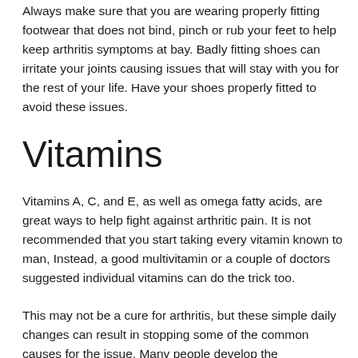Always make sure that you are wearing properly fitting footwear that does not bind, pinch or rub your feet to help keep arthritis symptoms at bay. Badly fitting shoes can irritate your joints causing issues that will stay with you for the rest of your life. Have your shoes properly fitted to avoid these issues.
Vitamins
Vitamins A, C, and E, as well as omega fatty acids, are great ways to help fight against arthritic pain. It is not recommended that you start taking every vitamin known to man, Instead, a good multivitamin or a couple of doctors suggested individual vitamins can do the trick too.
This may not be a cure for arthritis, but these simple daily changes can result in stopping some of the common causes for the issue. Many people develop the